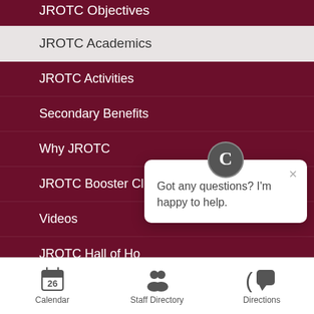JROTC Objectives
JROTC Academics
JROTC Activities
Secondary Benefits
Why JROTC
JROTC Booster Club
Videos
JROTC Hall of Ho[nor]
Photo Album
[Figure (screenshot): Chat popup widget with avatar icon and message: Got any questions? I'm happy to help.]
Calendar   Staff Directory   Directions